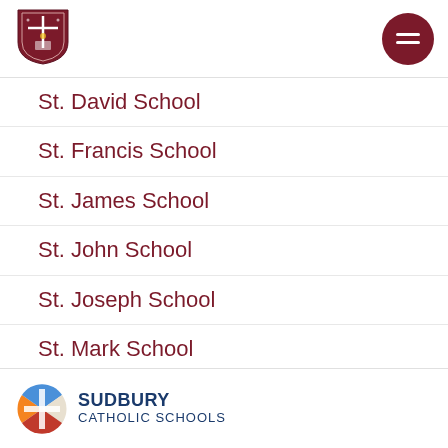[Figure (logo): School crest/shield logo in dark red/maroon with cross and maple leaf design]
[Figure (other): Dark red circular hamburger menu button with two white horizontal lines]
St. David School
St. Francis School
St. James School
St. John School
St. Joseph School
St. Mark School
St. Paul School
St. Raphael School
SUDBURY CATHOLIC SCHOOLS